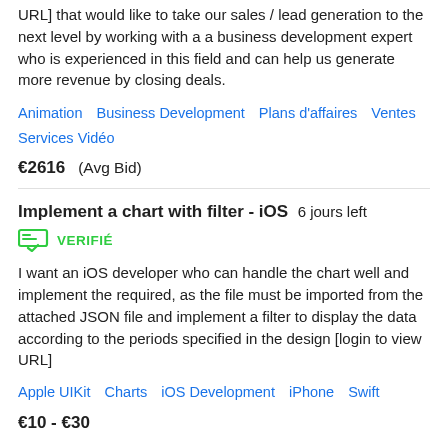URL] that would like to take our sales / lead generation to the next level by working with a a business development expert who is experienced in this field and can help us generate more revenue by closing deals.
Animation   Business Development   Plans d'affaires   Ventes   Services Vidéo
€2616  (Avg Bid)
Implement a chart with filter - iOS  6 jours left
VERIFIÉ
I want an iOS developer who can handle the chart well and implement the required, as the file must be imported from the attached JSON file and implement a filter to display the data according to the periods specified in the design [login to view URL]
Apple UIKit   Charts   iOS Development   iPhone   Swift
€10 - €30